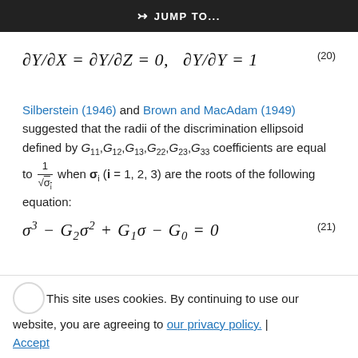JUMP TO...
Silberstein (1946) and Brown and MacAdam (1949) suggested that the radii of the discrimination ellipsoid defined by G_{11}, G_{12}, G_{13}, G_{22}, G_{23}, G_{33} coefficients are equal to 1/sqrt(sigma_i) when sigma_i (i = 1, 2, 3) are the roots of the following equation:
This site uses cookies. By continuing to use our website, you are agreeing to our privacy policy. | Accept